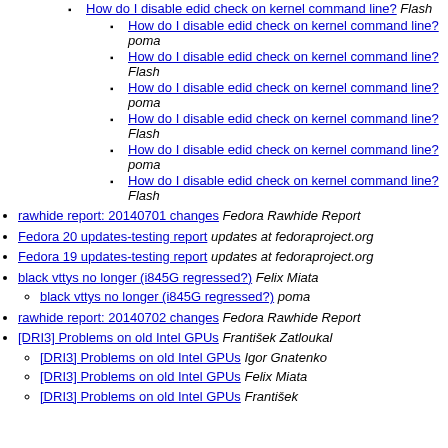How do I disable edid check on kernel command line?  Flash
How do I disable edid check on kernel command line?  poma
How do I disable edid check on kernel command line?  Flash
How do I disable edid check on kernel command line?  poma
How do I disable edid check on kernel command line?  Flash
How do I disable edid check on kernel command line?  poma
How do I disable edid check on kernel command line?  Flash
rawhide report: 20140701 changes  Fedora Rawhide Report
Fedora 20 updates-testing report  updates at fedoraproject.org
Fedora 19 updates-testing report  updates at fedoraproject.org
black vttys no longer (i845G regressed?)  Felix Miata
black vttys no longer (i845G regressed?)  poma
rawhide report: 20140702 changes  Fedora Rawhide Report
[DRI3] Problems on old Intel GPUs  František Zatloukal
[DRI3] Problems on old Intel GPUs  Igor Gnatenko
[DRI3] Problems on old Intel GPUs  Felix Miata
[DRI3] Problems on old Intel GPUs  František...